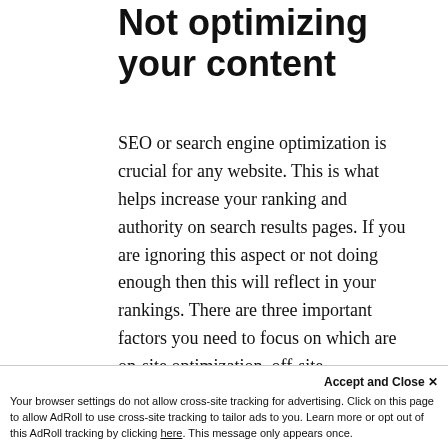Not optimizing your content
SEO or search engine optimization is crucial for any website. This is what helps increase your ranking and authority on search results pages. If you are ignoring this aspect or not doing enough then this will reflect in your rankings. There are three important factors you need to focus on which are on-site optimization, off-site
Accept and Close ✕ Your browser settings do not allow cross-site tracking for advertising. Click on this page to allow AdRoll to use cross-site tracking to tailor ads to you. Learn more or opt out of this AdRoll tracking by clicking here. This message only appears once.